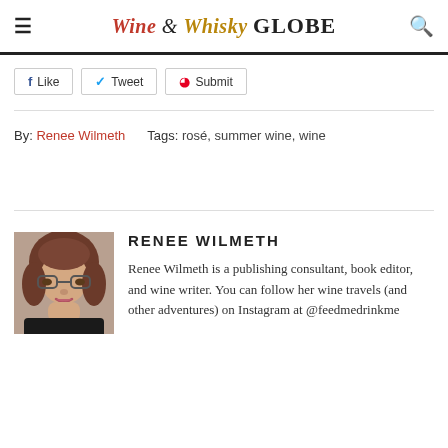Wine & Whisky GLOBE
Like
Tweet
Submit
By: Renee Wilmeth    Tags:  rosé, summer wine, wine
RENEE WILMETH
Renee Wilmeth is a publishing consultant, book editor, and wine writer. You can follow her wine travels (and other adventures) on Instagram at @feedmedrinkme